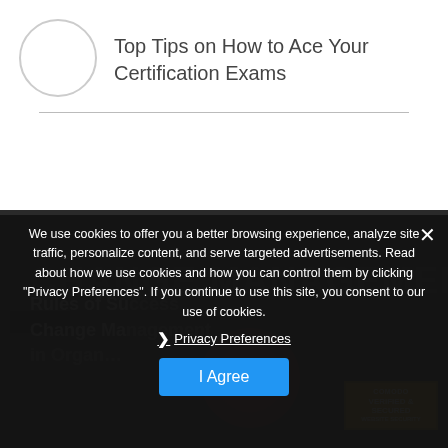[Figure (illustration): Circular placeholder logo/avatar image outline]
Top Tips on How to Ace Your Certification Exams
[Figure (screenshot): Dark background website content partially visible showing change management article title and related imagery]
We use cookies to offer you a better browsing experience, analyze site traffic, personalize content, and serve targeted advertisements. Read about how we use cookies and how you can control them by clicking "Privacy Preferences". If you continue to use this site, you consent to our use of cookies.
❯ Privacy Preferences
I Agree